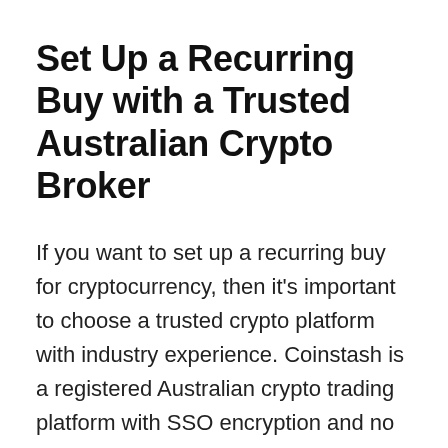Set Up a Recurring Buy with a Trusted Australian Crypto Broker
If you want to set up a recurring buy for cryptocurrency, then it’s important to choose a trusted crypto platform with industry experience. Coinstash is a registered Australian crypto trading platform with SSO encryption and no hidden fees. Our user-friendly platform and dedicated customer service team